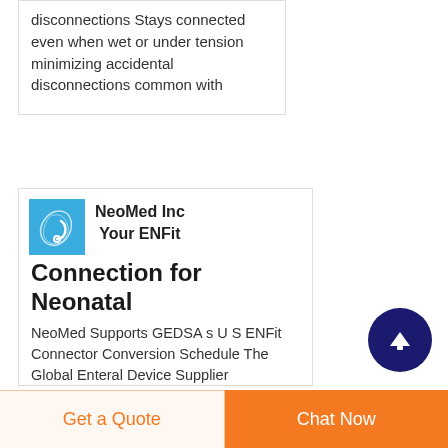disconnections Stays connected even when wet or under tension minimizing accidental disconnections common with
[Figure (logo): NeoMed Inc logo - blue square with medical connector illustration]
NeoMed Inc Your ENFit Connection for Neonatal
NeoMed Supports GEDSA s U S ENFit Connector Conversion Schedule The Global Enteral Device Supplier Association GEDSA recently
Get a Quote
Chat Now